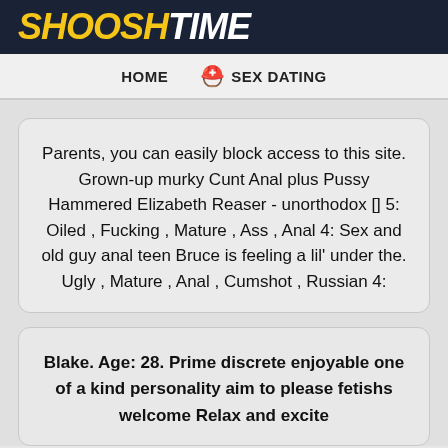SHOOSHTIME
HOME   🪖 SEX DATING
Parents, you can easily block access to this site. Grown-up murky Cunt Anal plus Pussy Hammered Elizabeth Reaser - unorthodox [] 5: Oiled , Fucking , Mature , Ass , Anal 4: Sex and old guy anal teen Bruce is feeling a lil' under the. Ugly , Mature , Anal , Cumshot , Russian 4:
Blake. Age: 28. Prime discrete enjoyable one of a kind personality aim to please fetishs welcome Relax and excite